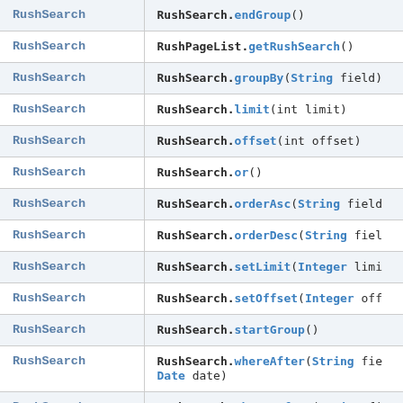| Return Type | Method |
| --- | --- |
| RushSearch | RushSearch.endGroup() |
| RushSearch | RushPageList.getRushSearch() |
| RushSearch | RushSearch.groupBy(String field) |
| RushSearch | RushSearch.limit(int limit) |
| RushSearch | RushSearch.offset(int offset) |
| RushSearch | RushSearch.or() |
| RushSearch | RushSearch.orderAsc(String field... |
| RushSearch | RushSearch.orderDesc(String field... |
| RushSearch | RushSearch.setLimit(Integer limit... |
| RushSearch | RushSearch.setOffset(Integer off... |
| RushSearch | RushSearch.startGroup() |
| RushSearch | RushSearch.whereAfter(String field, Date date) |
| RushSearch | RushSearch.whereBefore(String field, Date date) |
| RushSearch | RushSearch.childOf(Cl... |